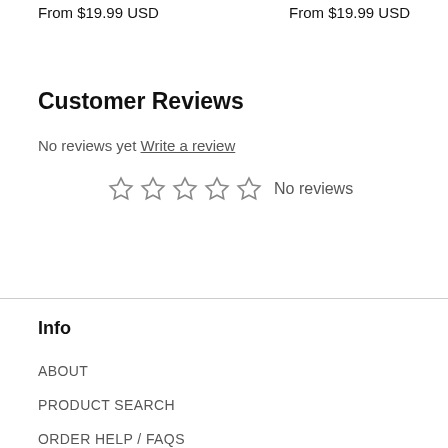From $19.99 USD
From $19.99 USD
Customer Reviews
No reviews yet Write a review
☆ ☆ ☆ ☆ ☆ No reviews
Info
ABOUT
PRODUCT SEARCH
ORDER HELP / FAQs